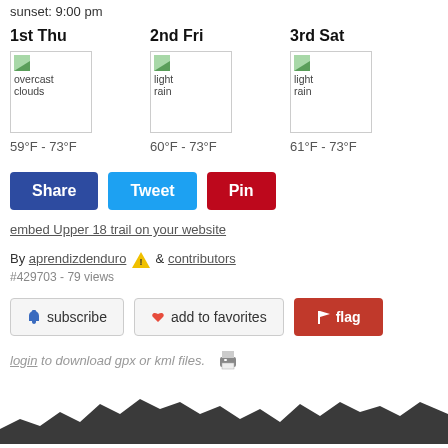sunset: 9:00 pm
1st Thu
overcast clouds
59°F - 73°F
2nd Fri
light rain
60°F - 73°F
3rd Sat
light rain
61°F - 73°F
Share | Tweet | Pin
embed Upper 18 trail on your website
By aprendizdenduro ⚠ & contributors
#429703 - 79 views
🏷 subscribe   ❤ add to favorites   🚩 flag
login to download gpx or kml files.